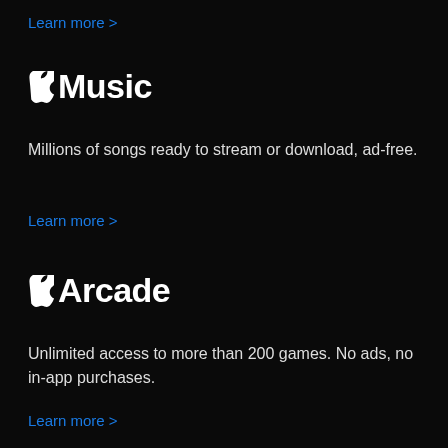Learn more >
Apple Music
Millions of songs ready to stream or download, ad-free.
Learn more >
Apple Arcade
Unlimited access to more than 200 games. No ads, no in-app purchases.
Learn more >